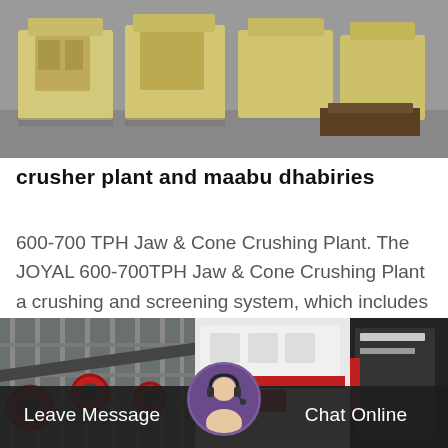[Figure (photo): Industrial crusher machines (beige/yellow equipment) lined up on gray warehouse floor]
crusher plant and maabu dhabiries
600-700 TPH Jaw & Cone Crushing Plant. The JOYAL 600-700TPH Jaw & Cone Crushing Plant a crushing and screening system, which includes GZD1500*6000…
Release Time:12-12
[Figure (photo): Industrial crushing plant interior showing large red and white machinery, conveyor systems, and factory equipment]
Leave Message   Chat Online